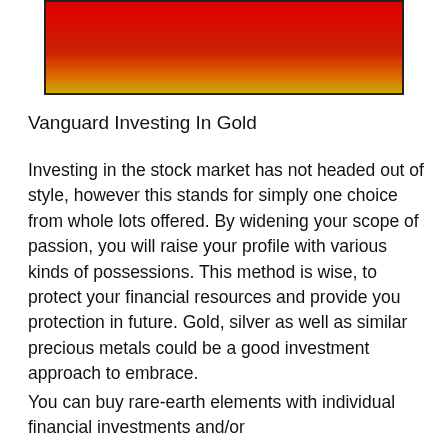[Figure (other): Decorative banner with gradient from red at top to orange/gold at bottom, with dark border]
Vanguard Investing In Gold
Investing in the stock market has not headed out of style, however this stands for simply one choice from whole lots offered. By widening your scope of passion, you will raise your profile with various kinds of possessions. This method is wise, to protect your financial resources and provide you protection in future. Gold, silver as well as similar precious metals could be a good investment approach to embrace.
You can buy rare-earth elements with individual financial investments and/or